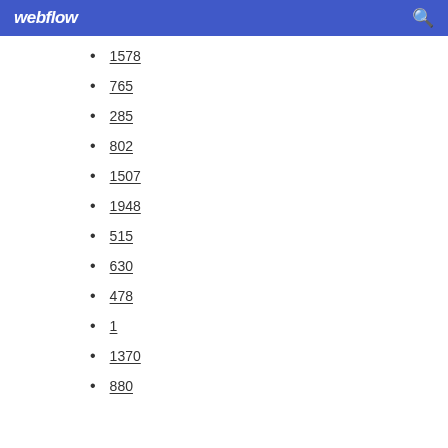webflow
1578
765
285
802
1507
1948
515
630
478
1
1370
880